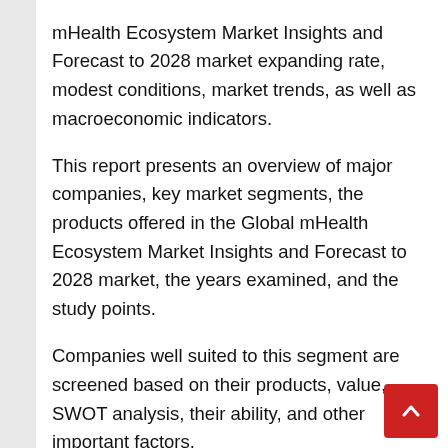mHealth Ecosystem Market Insights and Forecast to 2028 market expanding rate, modest conditions, market trends, as well as macroeconomic indicators.
This report presents an overview of major companies, key market segments, the products offered in the Global mHealth Ecosystem Market Insights and Forecast to 2028 market, the years examined, and the study points.
Companies well suited to this segment are screened based on their products, value, SWOT analysis, their ability, and other important factors.
The Global mHealth Ecosystem Market Insights and Forecast to 2028 report provides market data on imports, exports,